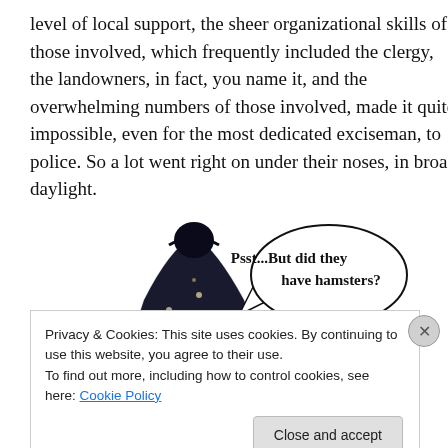level of local support, the sheer organizational skills of those involved, which frequently included the clergy, the landowners, in fact, you name it, and the overwhelming numbers of those involved, made it quite impossible, even for the most dedicated exciseman, to police. So a lot went right on under their noses, in broad daylight.
[Figure (illustration): A dark-clad figure (possibly a smuggler) with a speech bubble saying 'Psst...But did they have hamsters?']
Privacy & Cookies: This site uses cookies. By continuing to use this website, you agree to their use.
To find out more, including how to control cookies, see here: Cookie Policy